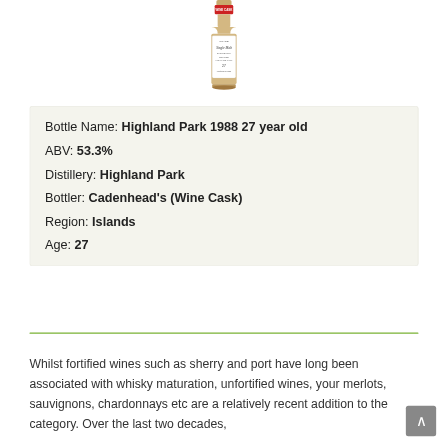[Figure (photo): A bottle of Highland Park 1988 27 year old single malt whisky, bottled by Cadenhead's Wine Cask series, with a white label and red top, shown from the upper portion.]
| Bottle Name: | Highland Park 1988 27 year old |
| ABV: | 53.3% |
| Distillery: | Highland Park |
| Bottler: | Cadenhead's (Wine Cask) |
| Region: | Islands |
| Age: | 27 |
Whilst fortified wines such as sherry and port have long been associated with whisky maturation, unfortified wines, your merlots, sauvignons, chardonnays etc are a relatively recent addition to the category. Over the last two decades,